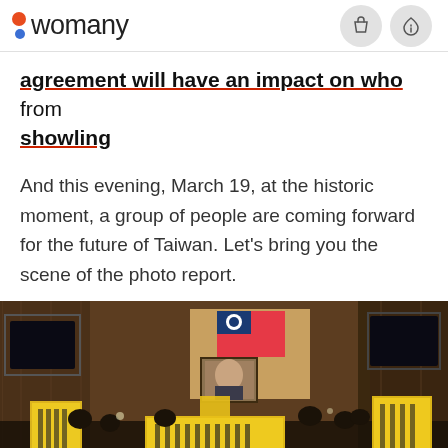womany
agreement will have an impact on who from showling
And this evening, March 19, at the historic moment, a group of people are coming forward for the future of Taiwan. Let's bring you the scene of the photo report.
[Figure (photo): Interior of Taiwan Legislative Yuan chamber occupied by protesters with yellow banners and signs, Taiwan flag and portrait of Sun Yat-sen visible at front, dark wood paneling throughout]